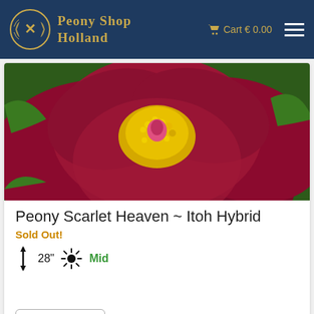Peony Shop Holland — Cart € 0.00
[Figure (photo): Close-up photo of a deep crimson/magenta peony flower with bright yellow stamens in the center, green leaves in background]
Peony Scarlet Heaven ~ Itoh Hybrid
Sold Out!
28" Mid
View Details
[Figure (photo): Partial view of a red peony flower at bottom of page]